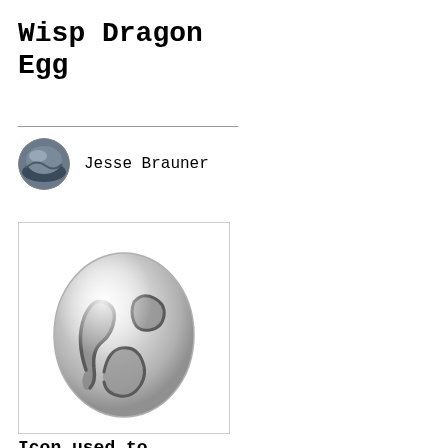Wisp Dragon Egg
Jesse Brauner
[Figure (illustration): A dragon egg rendered in grayscale. The egg is silver-white with a glossy sheen and has dark gray curving stripe-like markings on its surface forming an abstract pattern.]
Icon used to